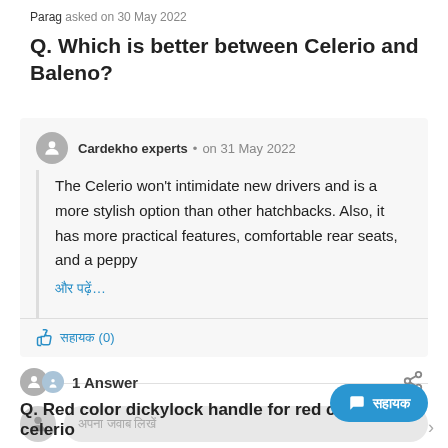Parag asked on 30 May 2022
Q. Which is better between Celerio and Baleno?
Cardekho experts • on 31 May 2022
The Celerio won't intimidate new drivers and is a more stylish option than other hatchbacks. Also, it has more practical features, comfortable rear seats, and a peppy
और पढ़ें...
सहायक (0)
1 Answer
अपना जवाब लिखें
Q. Red color dickylock handle for red color celerio